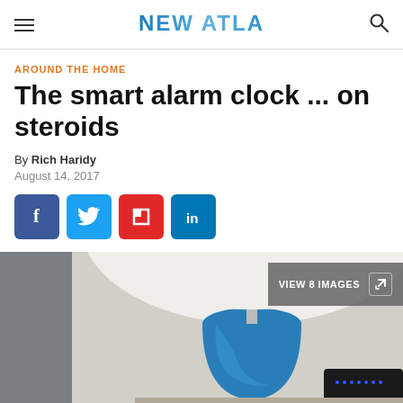NEW ATLAS
AROUND THE HOME
The smart alarm clock ... on steroids
By Rich Haridy
August 14, 2017
[Figure (screenshot): Social sharing buttons: Facebook (blue), Twitter (blue), Flipboard (red), LinkedIn (blue)]
[Figure (photo): Photo of a blue ceramic lamp on a nightstand with what appears to be a smart alarm clock device in the lower right corner. A VIEW 8 IMAGES button overlay appears in the upper right.]